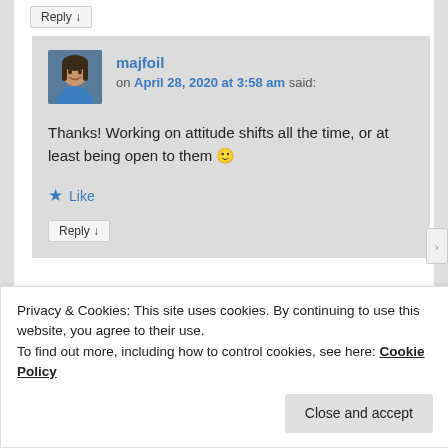Reply ↓
[Figure (photo): Avatar photo of majfoil — a woman in a blue top, smiling, with dark hair]
majfoil on April 28, 2020 at 3:58 am said:
Thanks! Working on attitude shifts all the time, or at least being open to them 🙂
★ Like
Reply ↓
Privacy & Cookies: This site uses cookies. By continuing to use this website, you agree to their use.
To find out more, including how to control cookies, see here: Cookie Policy
Close and accept